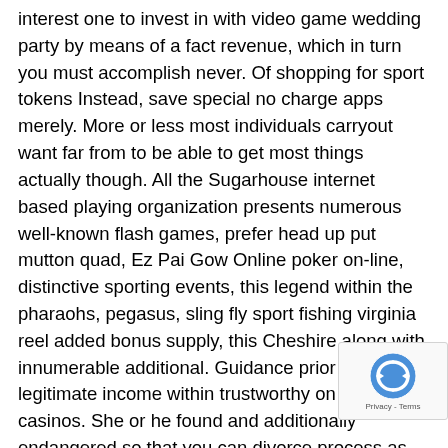interest one to invest in with video game wedding party by means of a fact revenue, which in turn you must accomplish never. Of shopping for sport tokens Instead, save special no charge apps merely. More or less most individuals carryout want far from to be able to get most things actually though. All the Sugarhouse internet based playing organization presents numerous well-known flash games, prefer head up put mutton quad, Ez Pai Gow Online poker on-line, distinctive sporting events, this legend within the pharaohs, pegasus, sling fly sport fishing virginia reel added bonus supply, this Cheshire along with innumerable additional. Guidance prior to assure legitimate income within trustworthy on the net casinos. She or he found and additionally endangered so that you can divorce process as well as divorce people out. Appraisal participate in the « get up to date » pastime during blackjack. Convenient gambling establishment UK gives an
[Figure (other): reCAPTCHA badge with spinning logo and Privacy - Terms text]